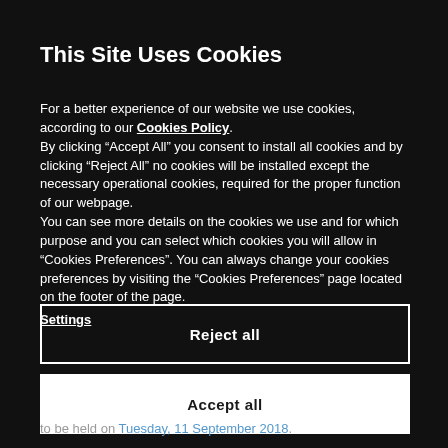This Site Uses Cookies
For a better experience of our website we use cookies, according to our Cookies Policy.
By clicking “Accept All” you consent to install all cookies and by clicking “Reject All” no cookies will be installed except the necessary operational cookies, required for the proper function of our webpage.
You can see more details on the cookies we use and for which purpose and you can select which cookies you will allow in “Cookies Preferences”. You can always change your cookies preferences by visiting the “Cookies Preferences” page located on the footer of the page.
Settings
Reject all
Accept all
to be held on Tuesday, 11 September 2018.